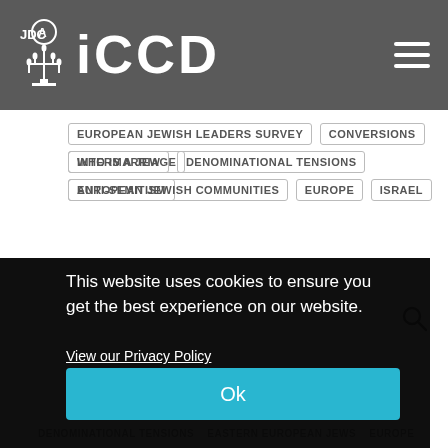JDC AICCD
EUROPEAN JEWISH LEADERS SURVEY
CONVERSIONS
INTERMARRIAGE
WHO IS A JEW
DENOMINATIONAL TENSIONS
ANTI-SEMITISM
EUROPEAN JEWISH COMMUNITIES
EUROPE
ISRAEL
This website uses cookies to ensure you get the best experience on our website.
View our Privacy Policy
Ok
DENOMINATIONAL TENSIONS   EASTERN EUROPEAN JEWS   EUROPE